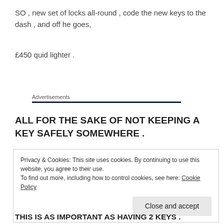SO , new set of locks all-round , code the new keys to the dash , and off he goes,
£450 quid lighter .
Advertisements
ALL FOR THE SAKE OF NOT KEEPING A KEY SAFELY SOMEWHERE .
Privacy & Cookies: This site uses cookies. By continuing to use this website, you agree to their use.
To find out more, including how to control cookies, see here: Cookie Policy
Close and accept
THIS IS AS IMPORTANT AS HAVING 2 KEYS .